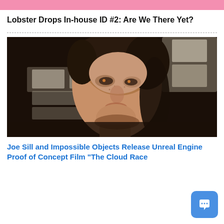Lobster Drops In-house ID #2: Are We There Yet?
[Figure (photo): Close-up cinematic portrait of a woman with short brown hair looking upward, dramatic lighting with blurred background showing bright display screens or signage]
Joe Sill and Impossible Objects Release Unreal Engine Proof of Concept Film “The Cloud Race”